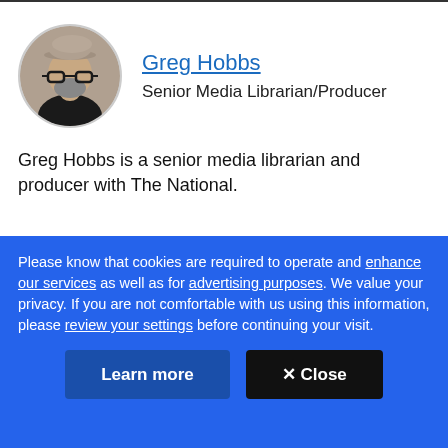[Figure (photo): Circular profile photo of Greg Hobbs, a bearded man wearing glasses and a flat cap]
Greg Hobbs
Senior Media Librarian/Producer
Greg Hobbs is a senior media librarian and producer with The National.
CBC's Journalistic Standards and Practices | About CBC News
Please know that cookies are required to operate and enhance our services as well as for advertising purposes. We value your privacy. If you are not comfortable with us using this information, please review your settings before continuing your visit.